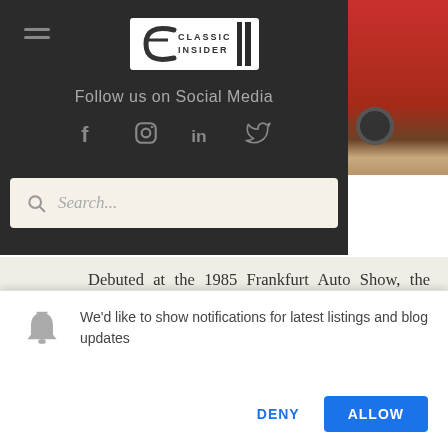[Figure (screenshot): Classic Insider website navigation overlay on dark background showing hamburger menu, logo, Follow us on Social Media text, social media icons (Facebook, Instagram, LinkedIn, Twitter), and a search bar]
Debuted at the 1985 Frankfurt Auto Show, the Ferrari 328 was the second model in Ferrari's long and popular line of mid-engine V8 sports cars, continuing through the upcoming 488 GTB. The 328 was the replacement to the popular
We'd like to show notifications for latest listings and blog updates
DENY
ALLOW